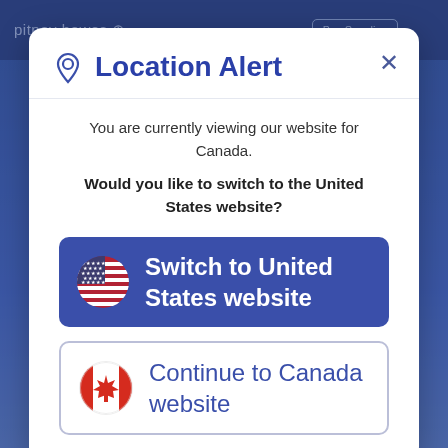[Figure (screenshot): Pitney Bowes website background with navigation bar showing logo and Buy Supplies button]
Location Alert
You are currently viewing our website for Canada.
Would you like to switch to the United States website?
Switch to United States website
Continue to Canada website